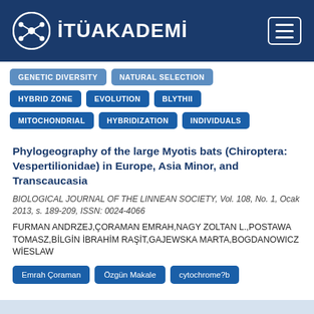[Figure (logo): İTÜAKADEMİ logo with network icon on dark blue header bar]
GENETIC DIVERSITY
NATURAL SELECTION
HYBRID ZONE
EVOLUTION
BLYTHII
MITOCHONDRIAL
HYBRIDIZATION
INDIVIDUALS
Phylogeography of the large Myotis bats (Chiroptera: Vespertilionidae) in Europe, Asia Minor, and Transcaucasia
BIOLOGICAL JOURNAL OF THE LINNEAN SOCIETY, Vol. 108, No. 1, Ocak 2013, s. 189-209, ISSN: 0024-4066
FURMAN ANDRZEJ,ÇORAMAN EMRAH,NAGY ZOLTAN L.,POSTAWA TOMASZ,BİLGİN İBRAHİM RAŞİT,GAJEWSKA MARTA,BOGDANOWICZ WİESLAW
Emrah Çoraman
Özgün Makale
cytochrome?b